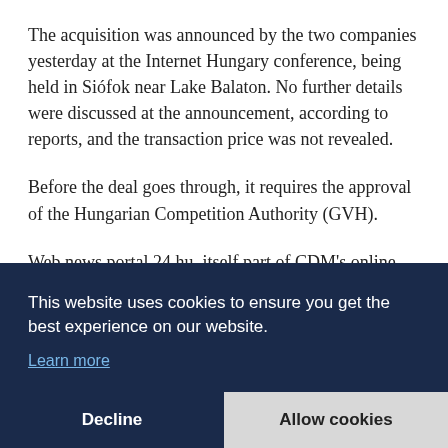The acquisition was announced by the two companies yesterday at the Internet Hungary conference, being held in Siófok near Lake Balaton. No further details were discussed at the announcement, according to reports, and the transaction price was not revealed.
Before the deal goes through, it requires the approval of the Hungarian Competition Authority (GVH).
Web news portal 24.hu, itself part of CDM's online portfolio, noted that it is no secret that RTL Hungary wishes to increase its presence on the digital market, and that the group had created the Digitalmind Digital Brand Studio division to assist with this objective in 2019. The portal also noted that CDM's online portfolio consists of a number of well-known Hungarian websites, noting Nlcafe.hu, Startlap.hu, Hazipatika.com, Vezess.hu and
This website uses cookies to ensure you get the best experience on our website.
Learn more
Decline
Allow cookies